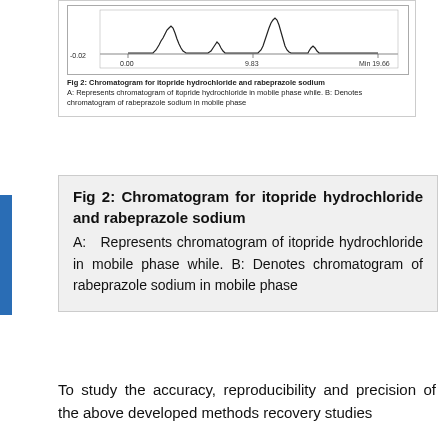[Figure (continuous-plot): Chromatogram showing peaks for itopride hydrochloride and rabeprazole sodium. X-axis shows time from 0.00 to Min 19.66, with a midpoint at 9.83. Y-axis shows value -0.02. Multiple peaks visible.]
Fig 2: Chromatogram for itopride hydrochloride and rabeprazole sodium
A: Represents chromatogram of itopride hydrochloride in mobile phase while. B: Denotes chromatogram of rabeprazole sodium in mobile phase
Fig 2: Chromatogram for itopride hydrochloride and rabeprazole sodium
A: Represents chromatogram of itopride hydrochloride in mobile phase while. B: Denotes chromatogram of rabeprazole sodium in mobile phase
To study the accuracy, reproducibility and precision of the above developed methods recovery studies